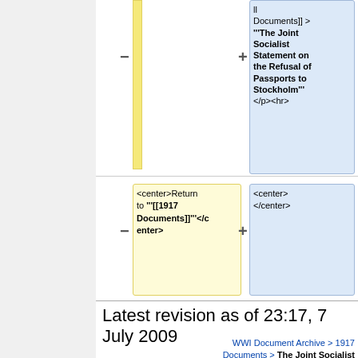[Figure (screenshot): Wikipedia diff view showing two columns: a yellow column on the left with a vertical bar (mostly empty top section and bottom code box containing '<center>Return to '''[[1917 Documents]]'''</center>'), and a blue column on the right (top box with link text and bold title 'The Joint Socialist Statement on the Refusal of Passports to Stockholm' plus '</p><hr>', bottom box with '<center> </center>'). Minus and plus symbols appear between columns.]
Latest revision as of 23:17, 7 July 2009
WWI Document Archive > 1917 Documents > The Joint Socialist Statement on the Refusal of Passports to Stockholm